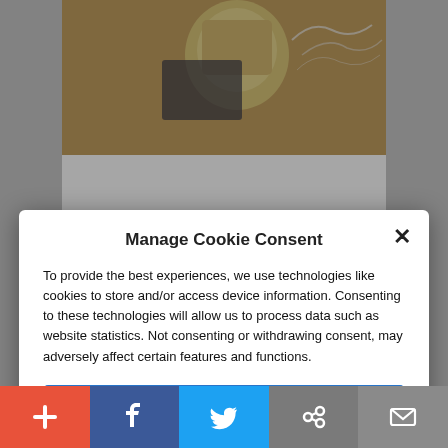[Figure (photo): Background webpage showing a photo of a person with light hair and smoke, partially visible behind a cookie consent modal]
Manage Cookie Consent
To provide the best experiences, we use technologies like cookies to store and/or access device information. Consenting to these technologies will allow us to process data such as website statistics. Not consenting or withdrawing consent, may adversely affect certain features and functions.
Accept
Cookie Policy  Privacy Policy
Back then, journalists gushed over FDR's